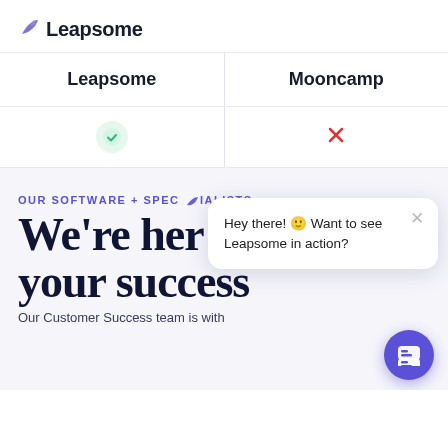[Figure (logo): Leapsome logo with bird icon and text]
| Leapsome | Mooncamp |
| --- | --- |
| ✓ (green check) | ✗ (red X) |
OUR SOFTWARE + SPECIALISTS
We're here for your success
Our Customer Success team is with
Hey there! 🙂 Want to see Leapsome in action?